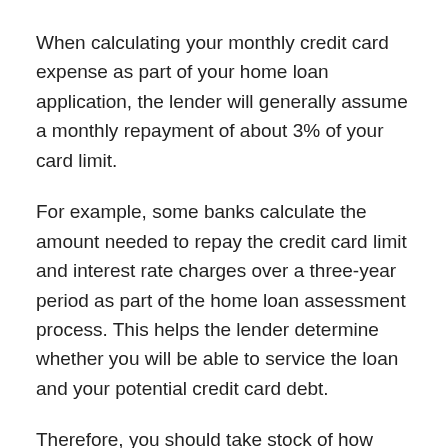When calculating your monthly credit card expense as part of your home loan application, the lender will generally assume a monthly repayment of about 3% of your card limit.
For example, some banks calculate the amount needed to repay the credit card limit and interest rate charges over a three-year period as part of the home loan assessment process. This helps the lender determine whether you will be able to service the loan and your potential credit card debt.
Therefore, you should take stock of how many credit cards you have and what their credit limits